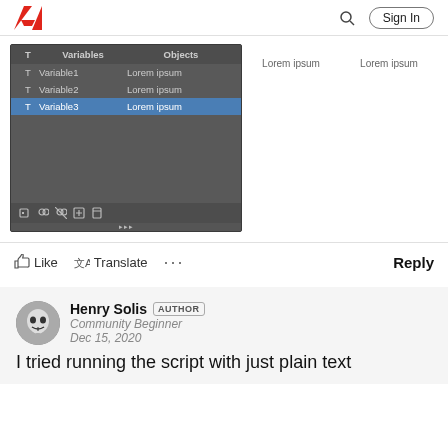Adobe | Sign In
[Figure (screenshot): Adobe Photoshop Variables panel showing a table with columns T, Variables, Objects. Rows: T Variable1 Lorem ipsum, T Variable2 Lorem ipsum, T Variable3 Lorem ipsum (selected/highlighted in blue). Below the table is an empty dark area and a toolbar with icons.]
Lorem ipsum
Lorem ipsum
Like  Translate  ...  Reply
Henry Solis  AUTHOR
Community Beginner
Dec 15, 2020
I tried running the script with just plain text